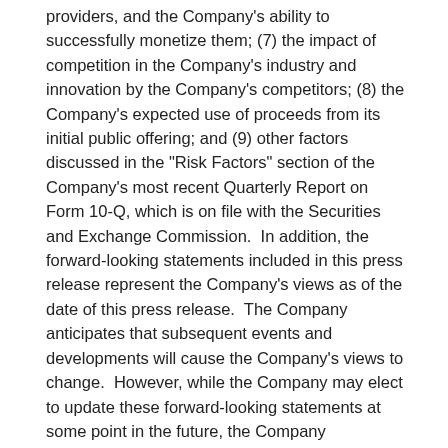providers, and the Company's ability to successfully monetize them; (7) the impact of competition in the Company's industry and innovation by the Company's competitors; (8) the Company's expected use of proceeds from its initial public offering; and (9) other factors discussed in the "Risk Factors" section of the Company's most recent Quarterly Report on Form 10-Q, which is on file with the Securities and Exchange Commission.  In addition, the forward-looking statements included in this press release represent the Company's views as of the date of this press release.  The Company anticipates that subsequent events and developments will cause the Company's views to change.  However, while the Company may elect to update these forward-looking statements at some point in the future, the Company specifically disclaims any obligation to do so.  These forward-looking statements should not be relied upon as representing the Company's views as of any date subsequent to the date of this press release.